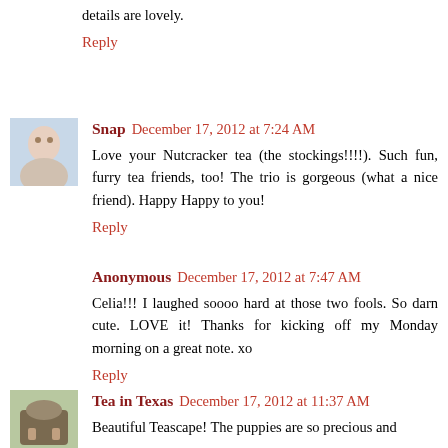details are lovely.
Reply
Snap December 17, 2012 at 7:24 AM
Love your Nutcracker tea (the stockings!!!!). Such fun, furry tea friends, too! The trio is gorgeous (what a nice friend). Happy Happy to you!
Reply
Anonymous December 17, 2012 at 7:47 AM
Celia!!! I laughed soooo hard at those two fools. So darn cute. LOVE it! Thanks for kicking off my Monday morning on a great note. xo
Reply
Tea in Texas December 17, 2012 at 11:37 AM
Beautiful Teascape! The puppies are so precious and